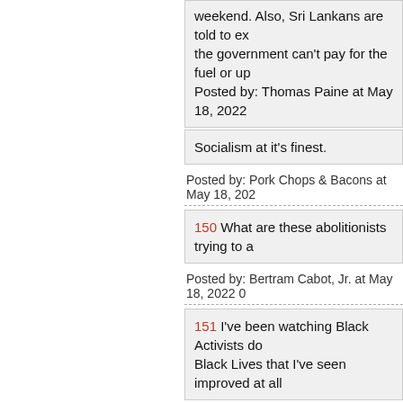weekend. Also, Sri Lankans are told to ex... the government can't pay for the fuel or up... Posted by: Thomas Paine at May 18, 2022
Socialism at it's finest.
Posted by: Pork Chops & Bacons at May 18, 202...
150 What are these abolitionists trying to a...
Posted by: Bertram Cabot, Jr. at May 18, 2022 0...
151 I've been watching Black Activists do... Black Lives that I've seen improved at all...
Posted by: 29Victor at May 18, 2022 01:38 PM (...
152 Perhaps Cullors should tearfully refe... about Candace knocking on a BLM buildi...
Posted by: 7man at May 18, 2022 01:39 PM (qw...
153 What is about the gheys that connect... fin...